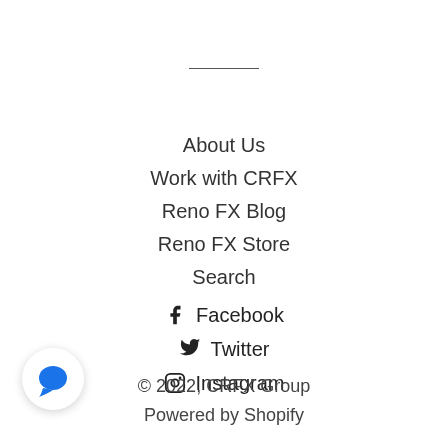About Us
Work with CRFX
Reno FX Blog
Reno FX Store
Search
Facebook
Twitter
Instagram
© 2022, CRFX Group
Powered by Shopify